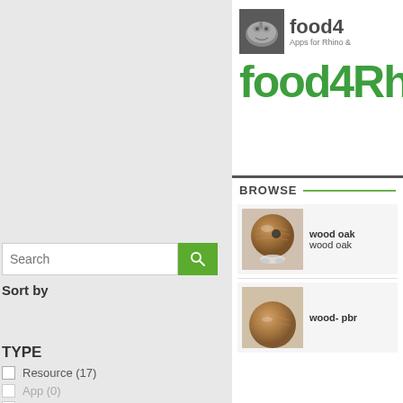[Figure (screenshot): food4Rhino website header showing logo with rhino icon, 'food4' text and 'Apps for Rhino' subtitle, large green 'food4Rh' title text]
BROWSE
[Figure (photo): Wood oak 3D rendered sphere product thumbnail - brown wooden ball shape]
wood oak
wood oak
[Figure (photo): wood-pbr product thumbnail - partial view of brown wooden object]
wood- pbr
Search
Sort by
Rating
TYPE
Resource (17)
App (0)
Services (0)